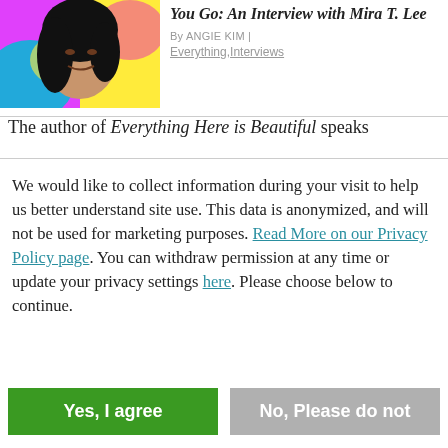[Figure (photo): Black and white photo of a woman (Mira T. Lee) with colorful background]
You Go: An Interview with Mira T. Lee
By ANGIE KIM | Everything, Interviews
The author of Everything Here is Beautiful speaks
We would like to collect information during your visit to help us better understand site use. This data is anonymized, and will not be used for marketing purposes. Read More on our Privacy Policy page. You can withdraw permission at any time or update your privacy settings here. Please choose below to continue.
Yes, I agree
No, Please do not